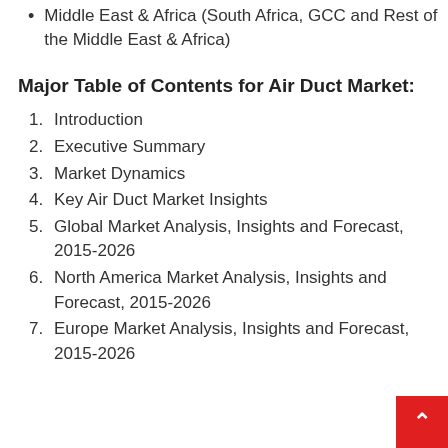Middle East & Africa (South Africa, GCC and Rest of the Middle East & Africa)
Major Table of Contents for Air Duct Market:
1. Introduction
2. Executive Summary
3. Market Dynamics
4. Key Air Duct Market Insights
5. Global Market Analysis, Insights and Forecast, 2015-2026
6. North America Market Analysis, Insights and Forecast, 2015-2026
7. Europe Market Analysis, Insights and Forecast, 2015-2026